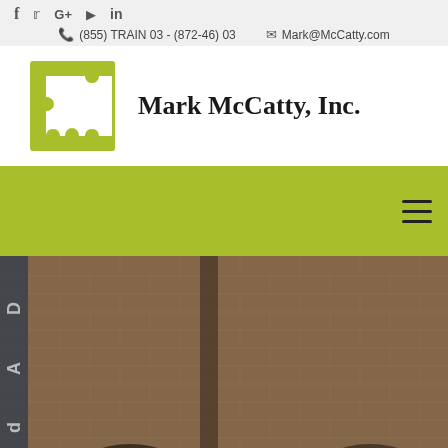Social icons: f, Twitter, G+, YouTube, in
(855) TRAIN 03 - (872-46) 03   Mark@McCatty.com
[Figure (logo): Mark McCatty Inc. logo with green puzzle piece and company name text]
[Figure (screenshot): Olive/lime green navigation bar with hamburger menu icon on the right]
[Figure (photo): Hero image showing people in a brick-walled room, partially cropped. Left side has a dark vertical panel with letters visible (D, A, d).]